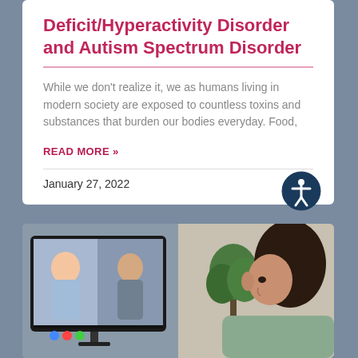Deficit/Hyperactivity Disorder and Autism Spectrum Disorder
While we don't realize it, we as humans living in modern society are exposed to countless toxins and substances that burden our bodies everyday. Food,
READ MORE »
January 27, 2022
[Figure (photo): A young woman with curly hair in a green hoodie sits at a desk looking at a computer monitor showing a video call with two women.]